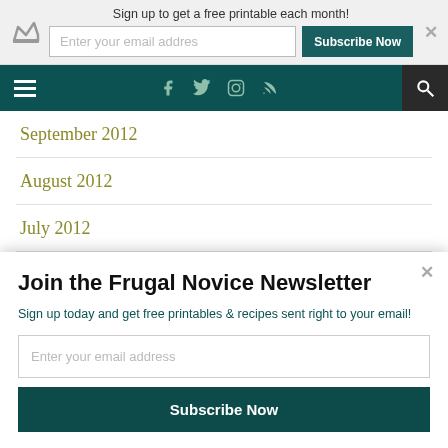Sign up to get a free printable each month!
[Figure (screenshot): Navigation bar with hamburger menu, social icons (Facebook, Twitter, Instagram, RSS), and search icon on dark teal background]
September 2012
August 2012
July 2012
June 2012
May 2012
Join the Frugal Novice Newsletter
Sign up today and get free printables & recipes sent right to your email!
Enter your email address
Subscribe Now